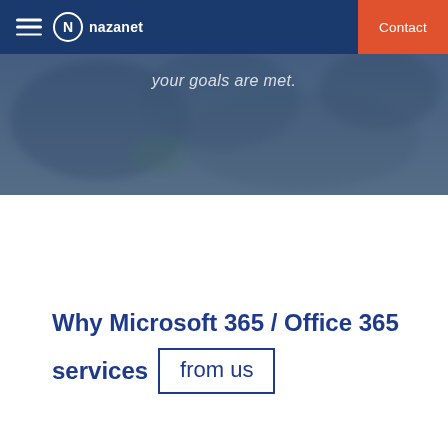nazanet | Contact
[Figure (photo): Blurred hero background image with dark blue overlay tint, partially showing people or objects out of focus]
your goals are met.
Why Microsoft 365 / Office 365 services from us